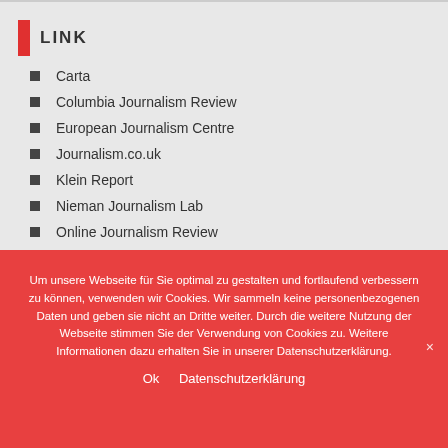LINK
Carta
Columbia Journalism Review
European Journalism Centre
Journalism.co.uk
Klein Report
Nieman Journalism Lab
Online Journalism Review
Um unsere Webseite für Sie optimal zu gestalten und fortlaufend verbessern zu können, verwenden wir Cookies. Wir sammeln keine personenbezogenen Daten und geben sie nicht an Dritte weiter. Durch die weitere Nutzung der Webseite stimmen Sie der Verwendung von Cookies zu. Weitere Informationen dazu erhalten Sie in unserer Datenschutzerklärung.
Ok   Datenschutzerklärung